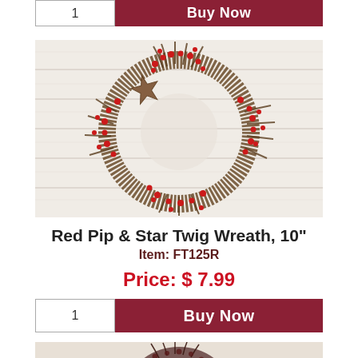[Figure (photo): Buy Now button row at top of page with quantity box showing '1' and dark red Buy Now button]
[Figure (photo): Red Pip & Star Twig Wreath product photo — circular twig wreath with red pip berries and a rustic metal star, photographed against a white wood plank background]
Red Pip & Star Twig Wreath, 10"
Item: FT125R
Price: $ 7.99
[Figure (photo): Buy Now button row with quantity box showing '1' and dark red Buy Now button]
[Figure (photo): Second product photo partially visible at bottom — dark burgundy twig wreath against wood background]